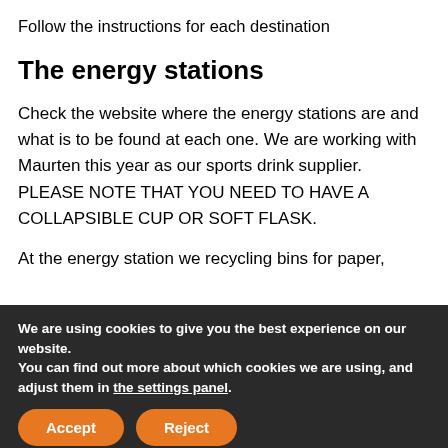Follow the instructions for each destination
The energy stations
Check the website where the energy stations are and what is to be found at each one. We are working with Maurten this year as our sports drink supplier. PLEASE NOTE THAT YOU NEED TO HAVE A COLLAPSIBLE CUP OR SOFT FLASK.
At the energy station we recycling bins for paper,
We are using cookies to give you the best experience on our website.
You can find out more about which cookies we are using, and adjust them in the settings panel.
Accept
Reject